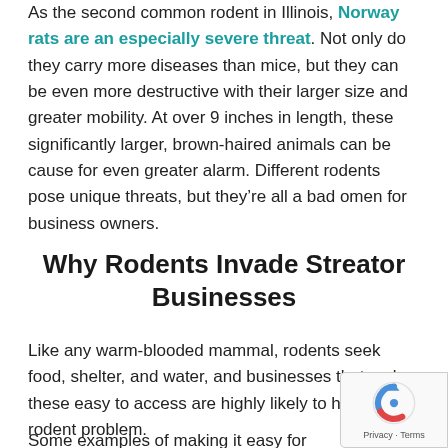As the second common rodent in Illinois, Norway rats are an especially severe threat. Not only do they carry more diseases than mice, but they can be even more destructive with their larger size and greater mobility. At over 9 inches in length, these significantly larger, brown-haired animals can be cause for even greater alarm. Different rodents pose unique threats, but they're all a bad omen for business owners.
Why Rodents Invade Streator Businesses
Like any warm-blooded mammal, rodents seek food, shelter, and water, and businesses that make these easy to access are highly likely to have a rodent problem.
Some examples of making it easy for rodents in...
[Figure (other): reCAPTCHA badge with Google logo and 'Privacy - Terms' text in bottom right corner]